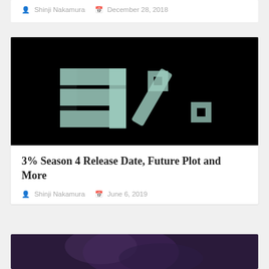Shinji Nakamura  December 28, 2018
[Figure (photo): Black background with large stylized '3%' logo in pale teal/mint metallic letters — the number 3 on the left, percent sign on the right. Trees visible through translucent letterforms.]
3% Season 4 Release Date, Future Plot and More
Shinji Nakamura  June 6, 2019
[Figure (photo): Partial image of a dark scene, partially visible at the bottom of the page, with a figure in dim purple/blue lighting.]